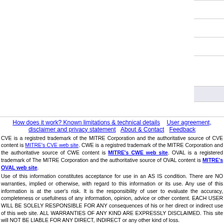| URL | Label |
| --- | --- |
| http://www.kb.cert.org/vuls/id/476900 | CERT-VN VU#476900 |
| https://docs.microsoft.com/en-us/security-updates/securi... | MS MS07-003 |
| http://www.securityfocus.com/archive/1/457274/100/0/th... | HP HPSBST02184 |
- Metasploit Modules Related To CVE-20...
There are not any metasploit modules related to this CVE...
How does it work? Known limitations & technical details | User agreement, disclaimer and privacy statement | About & Contact | Feedback
CVE is a registred trademark of the MITRE Corporation and the authoritative source of CVE content is MITRE's CVE web site. CWE is a registred trademark of the MITRE Corporation and the authoritative source of CWE content is MITRE's CWE web site. OVAL is a registered trademark of The MITRE Corporation and the authoritative source of OVAL content is MITRE's OVAL web site.
Use of this information constitutes acceptance for use in an AS IS condition. There are NO warranties, implied or otherwise, with regard to this information or its use. Any use of this information is at the user's risk. It is the responsibility of user to evaluate the accuracy, completeness or usefulness of any information, opinion, advice or other content. EACH USER WILL BE SOLELY RESPONSIBLE FOR ANY consequences of his or her direct or indirect use of this web site. ALL WARRANTIES OF ANY KIND ARE EXPRESSLY DISCLAIMED. This site will NOT BE LIABLE FOR ANY DIRECT, INDIRECT or any other kind of loss.